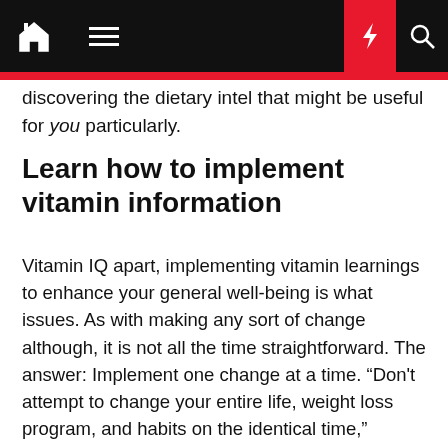Navigation bar with home, menu, dark mode, lightning, and search icons
discovering the dietary intel that might be useful for you particularly.
Learn how to implement vitamin information
Vitamin IQ apart, implementing vitamin learnings to enhance your general well-being is what issues. As with making any sort of change although, it is not all the time straightforward. The answer: Implement one change at a time. “Don't attempt to change your entire life, weight loss program, and habits on the identical time,” Shapiro says. “Begin one factor, let that stick, and construct on prime of that. Wholesome habits usually breed different wholesome habits.”